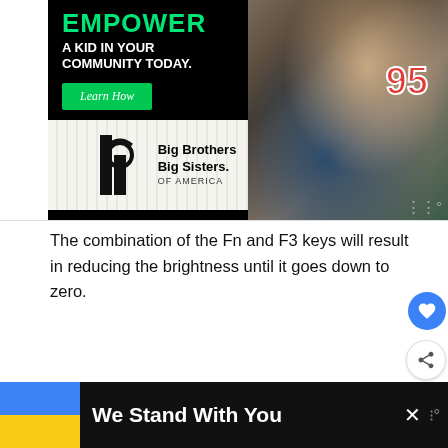[Figure (photo): Big Brothers Big Sisters of America advertisement banner showing text EMPOWER A KID IN YOUR COMMUNITY TODAY with a Learn How button, the organization logo, and a photo of an adult and child working on a robotics project]
The combination of the Fn and F3 keys will result in reducing the brightness until it goes down to zero.
If you have these Function keys to control the keyboard backlight and it is still not working, then the BIOS settings should be checked. You enable the Actions Keys Mode under the System Configuration in BIOS Utility.
[Figure (screenshot): What's Next card showing How to Fix Lenovo... with a small dark icon]
[Figure (photo): Bottom advertisement banner with Ukrainian flag colors (blue and yellow) and text We Stand With You]